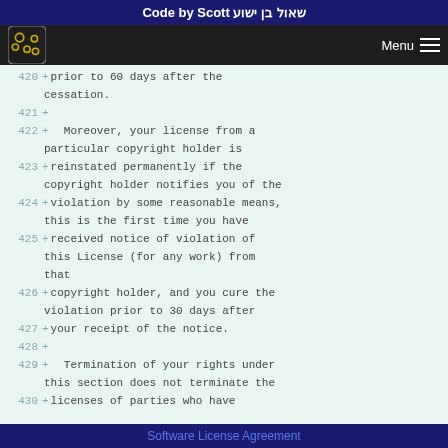Code by Scott שאול בן ישוע
420 + prior to 60 days after the cessation.
421 +
422 +   Moreover, your license from a particular copyright holder is
423 + reinstated permanently if the copyright holder notifies you of the
424 + violation by some reasonable means, this is the first time you have
425 + received notice of violation of this License (for any work) from that
426 + copyright holder, and you cure the violation prior to 30 days after
427 + your receipt of the notice.
428 +
429 +   Termination of your rights under this section does not terminate the
430 + licenses of parties who have
Software License Agreement